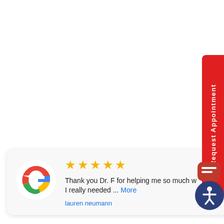[Figure (other): Red vertical 'Request Appointment' button on the right side of the page]
[Figure (other): Google review card with Google logo (G), 5 yellow stars, review text 'Thank you Dr. F for helping me so much w... I really needed ... More', and reviewer name 'lauren neumann']